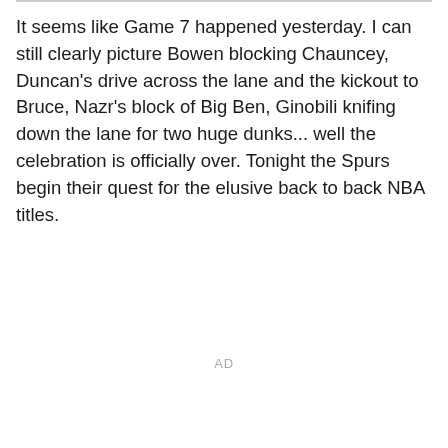It seems like Game 7 happened yesterday. I can still clearly picture Bowen blocking Chauncey, Duncan's drive across the lane and the kickout to Bruce, Nazr's block of Big Ben, Ginobili knifing down the lane for two huge dunks... well the celebration is officially over. Tonight the Spurs begin their quest for the elusive back to back NBA titles.
AD